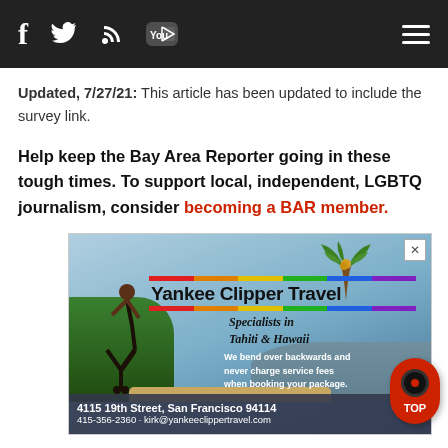Navigation bar with social media icons (Facebook, Twitter, RSS, YouTube) and hamburger menu
Updated, 7/27/21: This article has been updated to include the survey link.
Help keep the Bay Area Reporter going in these tough times. To support local, independent, LGBTQ journalism, consider becoming a BAR member.
[Figure (photo): Yankee Clipper Travel advertisement showing a person doing a handstand on a beach. Text: 'Yankee Clipper Travel', 'Specialists in Tahiti & Hawaii', 'We bend over backwards and never charge service fees when booking your package.', '4115 19th Street, San Francisco 94114', '415-356-2360 · kirk@yankeeclippertravel.com'. Features a rainbow striped logo bar.]